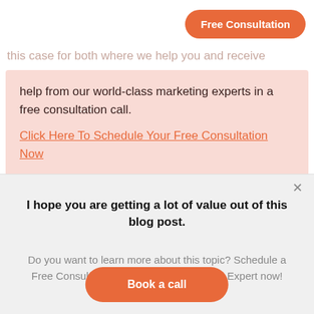Free Consultation
help from our world-class marketing experts in a free consultation call.
Click Here To Schedule Your Free Consultation Now
I hope you are getting a lot of value out of this blog post.
Do you want to learn more about this topic? Schedule a Free Consultation call with a Single Grain Expert now!
Book a call